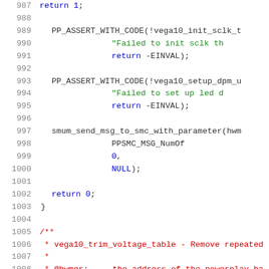[Figure (screenshot): Source code listing showing lines 987-1008 of a C source file. Lines show PP_ASSERT_WITH_CODE calls, smum_send_msg_to_smc_with_parameter call, return 0, closing brace, and start of a Doxygen comment block for vega10_trim_voltage_table function.]